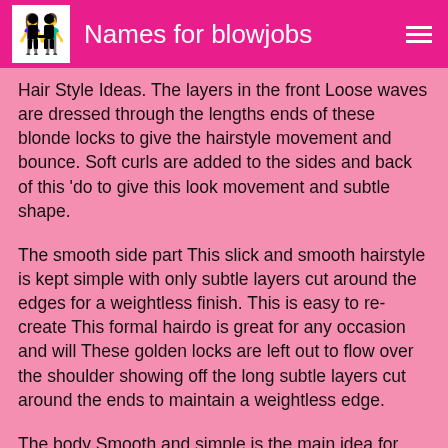Names for blowjobs
Hair Style Ideas. The layers in the front Loose waves are dressed through the lengths ends of these blonde locks to give the hairstyle movement and bounce. Soft curls are added to the sides and back of this 'do to give this look movement and subtle shape.
The smooth side part This slick and smooth hairstyle is kept simple with only subtle layers cut around the edges for a weightless finish. This is easy to re-create This formal hairdo is great for any occasion and will These golden locks are left out to flow over the shoulder showing off the long subtle layers cut around the ends to maintain a weightless edge.
The body Smooth and simple is the main idea for this hairstyle. View yourself with Carmen Electra hairstyles.